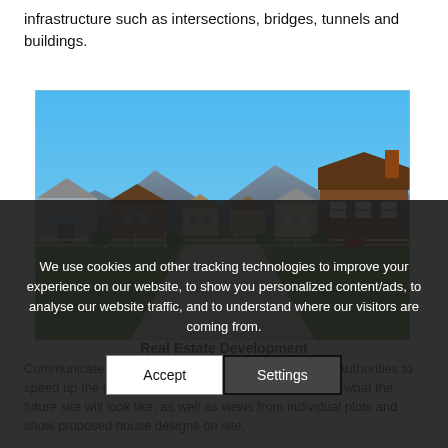infrastructure such as intersections, bridges, tunnels and buildings.
[Figure (photo): 3D rendering of a real estate development showing suburban houses with a large grassy area in the foreground, mountains in the background, and a clear blue sky.]
Real Estate Development
Communicate the design on site with city and regional authorities to speed up the planning approval. Show potential buyers what the future site will look like, as well as views from individual plots and show proposed house designs on site.